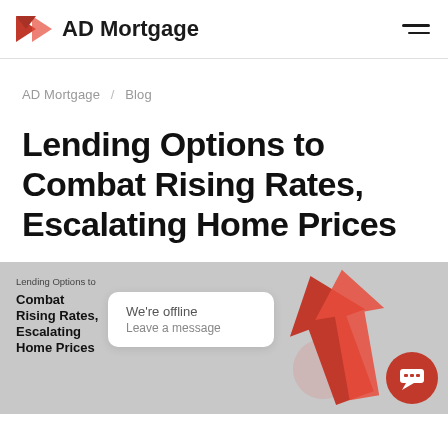AD Mortgage
AD Mortgage / Blog
Lending Options to Combat Rising Rates, Escalating Home Prices
[Figure (illustration): Banner image with grey background showing 'Lending Options to Combat Rising Rates, Escalating Home Prices' text on left, a chat offline popup in center, red arrow graphics on right, and a chat icon button at bottom right.]